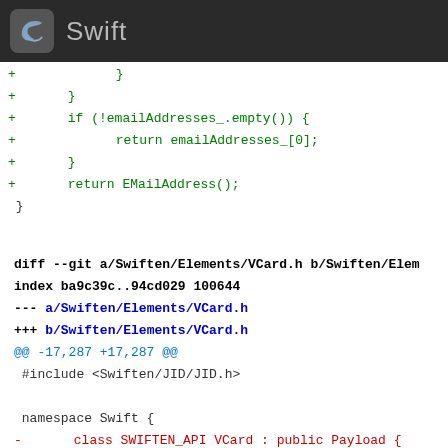Swift
+             }
+     }
+     if (!emailAddresses_.empty()) {
+             return emailAddresses_[0];
+     }
+     return EMailAddress();
 }
diff --git a/Swiften/Elements/VCard.h b/Swiften/Elem
index ba9c39c..94cd029 100644
--- a/Swiften/Elements/VCard.h
+++ b/Swiften/Elements/VCard.h
@@ -17,287 +17,287 @@
 #include <Swiften/JID/JID.h>

 namespace Swift {
-        class SWIFTEN_API VCard : public Payload {
-                public;